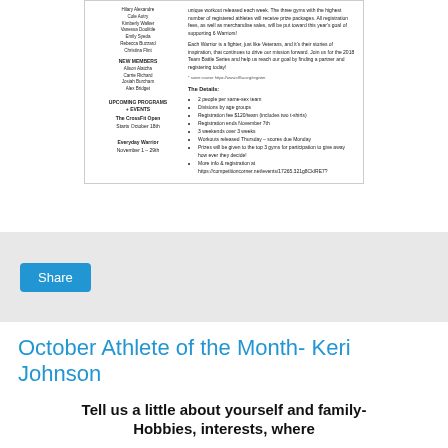[Figure (screenshot): A newsletter/document snippet showing member names, new members section, upcoming programs and events, and The Details bullet list about a Team Battle Series event.]
Share
October Athlete of the Month- Keri Johnson
Tell us a little about yourself and family- Hobbies, interests, where